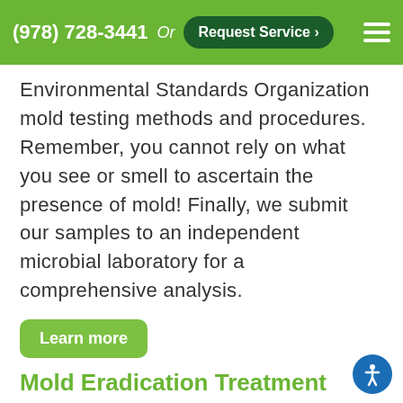(978) 728-3441  Or  Request Service >  ☰
Environmental Standards Organization mold testing methods and procedures. Remember, you cannot rely on what you see or smell to ascertain the presence of mold! Finally, we submit our samples to an independent microbial laboratory for a comprehensive analysis.
Learn more
Mold Eradication Treatment
Our licensed and/or certified technicians utilize a multifaceted